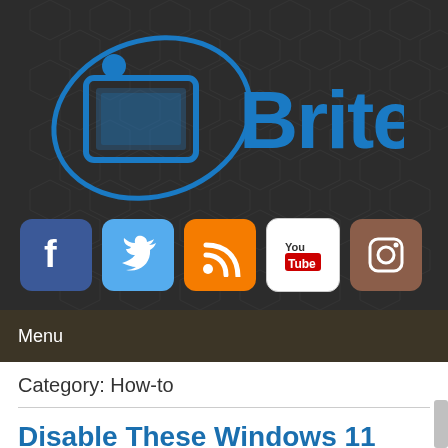[Figure (logo): Britec logo with orbit-style graphic around a tablet/monitor icon, blue color scheme on dark hexagonal patterned background]
[Figure (infographic): Row of social media icons: Facebook (blue), Twitter (light blue), RSS (orange), YouTube (white/red), Instagram (brown). Rounded square icons on dark background.]
Menu
Category: How-to
Disable These Windows 11 Settings Immediately
admin   August 19, 2022   How-to   No Comments